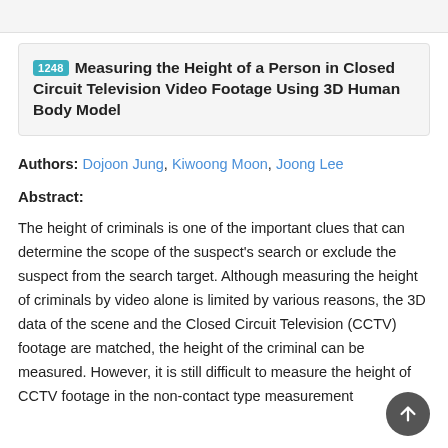1248 Measuring the Height of a Person in Closed Circuit Television Video Footage Using 3D Human Body Model
Authors: Dojoon Jung, Kiwoong Moon, Joong Lee
Abstract:
The height of criminals is one of the important clues that can determine the scope of the suspect's search or exclude the suspect from the search target. Although measuring the height of criminals by video alone is limited by various reasons, the 3D data of the scene and the Closed Circuit Television (CCTV) footage are matched, the height of the criminal can be measured. However, it is still difficult to measure the height of CCTV footage in the non-contact type measurement